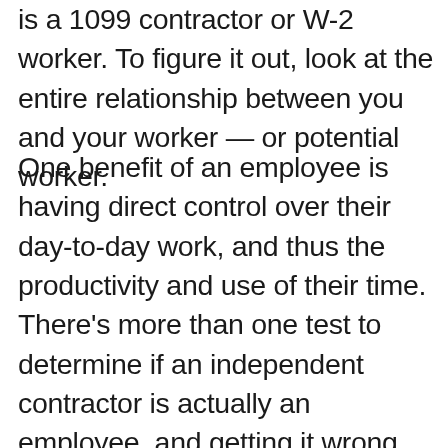is a 1099 contractor or W-2 worker. To figure it out, look at the entire relationship between you and your worker — or potential worker.
One benefit of an employee is having direct control over their day-to-day work, and thus the productivity and use of their time. There's more than one test to determine if an independent contractor is actually an employee, and getting it wrong can cost you more than back pay—it can cost you your freedom. Review your payroll and accounts payable records throughout the year and examine your worker classifications to be confident that you are reporting each individual accurately. Send your W-2 and 1099-NEC forms out on or before January 31st annually to both the workers you paid and to the government